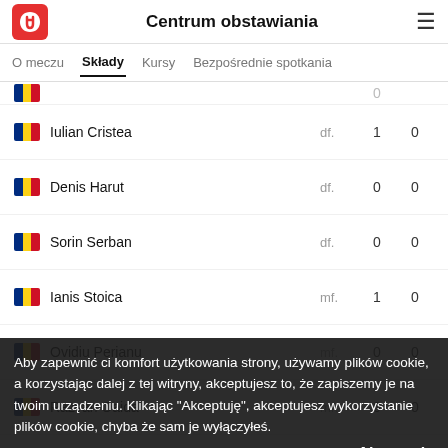Centrum obstawiania
O meczu | Składy | Kursy | Bezpośrednie spotkania
| Player | Pos | Col1 | Col2 |
| --- | --- | --- | --- |
| Iulian Cristea | df. | 1 | 0 |
| Denis Harut | df. | 0 | 0 |
| Sorin Serban | df. | 0 | 0 |
| Ianis Stoica | mf. | 1 | 0 |
| Ovidiu Perianu | mf. | 0 | 0 |
| Razvan Oaida | mf. | 0 | 0 |
| Alexandru Musi | fw. | 1 | 0 |
| Christian Dumitru | fw. | 1 | 0 |
| Florinel Coman | fw. | 1 | 0 |
Nie zagra
Ionut Vina | mf. | 1 | 0
Aby zapewnić ci komfort użytkowania strony, używamy plików cookie, a korzystając dalej z tej witryny, akceptujesz to, że zapiszemy je na twoim urządzeniu. Klikając "Akceptuję", akceptujesz wykorzystanie plików cookie, chyba że sam je wyłączyłeś.